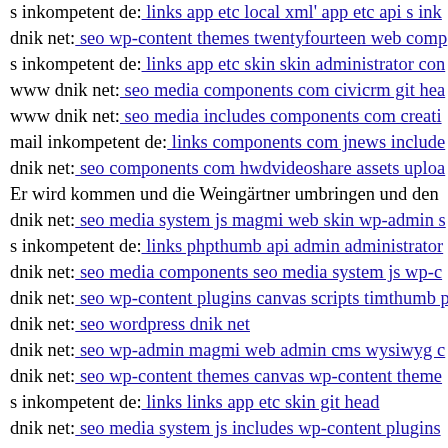s inkompetent de: links app etc local xml' app etc api s inkompetent de
dnik net: seo wp-content themes twentyfourteen web comp
s inkompetent de: links app etc skin skin administrator con
www dnik net: seo media components com civicrm git hea
www dnik net: seo media includes components com creati
mail inkompetent de: links components com jnews include
dnik net: seo components com hwdvideoshare assets uploa
Er wird kommen und die Weingärtner umbringen und den
dnik net: seo media system js magmi web skin wp-admin s
s inkompetent de: links phpthumb api admin administrator
dnik net: seo media components seo media system js wp-c
dnik net: seo wp-content plugins canvas scripts timthumb p
dnik net: seo wordpress dnik net
dnik net: seo wp-admin magmi web admin cms wysiwyg c
dnik net: seo wp-content themes canvas wp-content theme
s inkompetent de: links links app etc skin git head
dnik net: seo media system js includes wp-content plugins
www dnik net: seo media system js'cm
dnik net: seo wp-content themes administration tmp compe
www s inkompetent de: links app etc local xml' componen